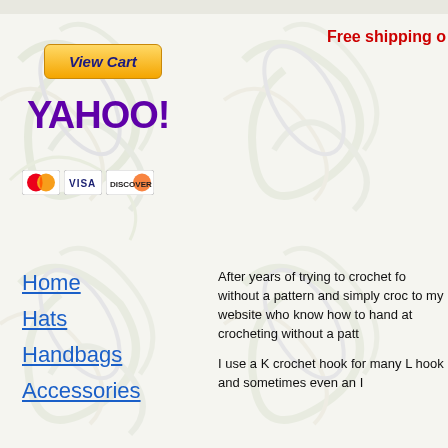[Figure (screenshot): View Cart button with gold/yellow gradient background and dark blue italic bold text]
Free shipping o
[Figure (logo): Yahoo! logo in purple]
[Figure (other): Payment icons: Mastercard, Visa, Discover]
Home
Hats
Handbags
Accessories
After years of trying to crochet fo without a pattern and simply croc to my website who know how to hand at crocheting without a patt
I use a K crochet hook for many L hook and sometimes even an I